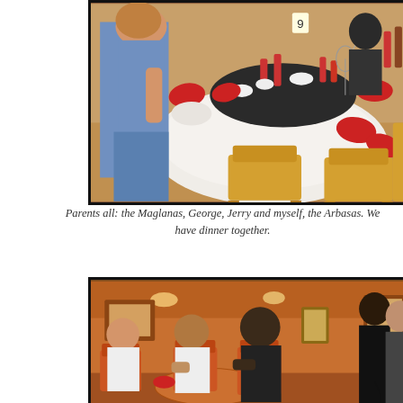[Figure (photo): People seated at a round table with white tablecloth in a restaurant setting. Red napkins visible, glasses, bowls, and bottles on table. Wooden chairs. A woman in blue top visible on the left.]
Parents all:  the Maglanas, George, Jerry and myself, the Arbasas.  We have dinner together.
[Figure (photo): Interior of a restaurant with warm amber/orange lighting. Multiple people seated at tables with wooden chairs. A person in dark clothing standing. Round decorative element visible on wall.]